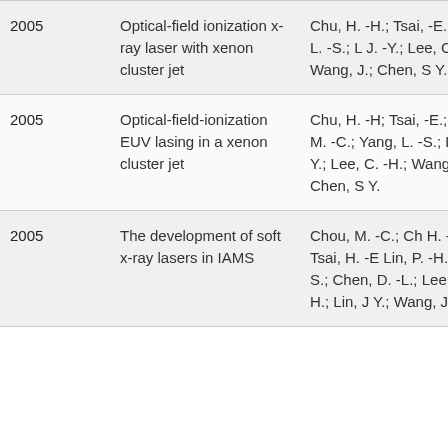| Year | Title | Authors |
| --- | --- | --- |
| 2005 | Optical-field ionization x-ray laser with xenon cluster jet | Chu, H. -H.; Tsai, -E.; Yang, L. -S.; L J. -Y.; Lee, C. -H. Wang, J.; Chen, Y. |
| 2005 | Optical-field-ionization EUV lasing in a xenon cluster jet | Chu, H. -H; Tsai, -E.; Chou, M. -C.; Yang, L. -S.; Lin, J Y.; Lee, C. -H.; Wang, J.; Chen, Y. |
| 2005 | The development of soft x-ray lasers in IAMS | Chou, M. -C.; Ch H. -H.; Tsai, H. -E Lin, P. -H.; Yang, S.; Chen, D. -L.; Lee, C. -H.; Lin, J Y.; Wang, J.; Che |